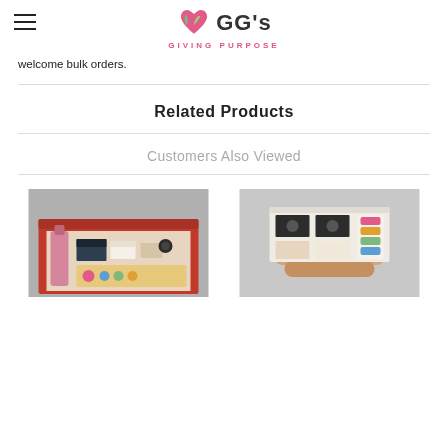GG's Giving Purpose
welcome bulk orders.
Related Products
Customers Also Viewed
[Figure (photo): A red gift box open showing bottles of wine, packaged food items, snacks, and other gourmet products arranged inside.]
[Figure (photo): A person holding an open gift box containing chocolates, macarons, and packaged gourmet food items.]